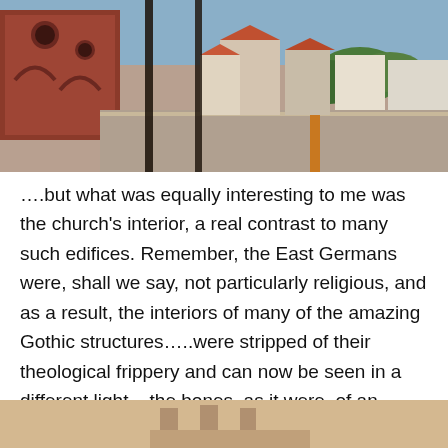[Figure (photo): Aerial view from a church tower looking out over a German town with red-tiled rooftops, trees, and Gothic brick church architecture visible. Vertical bars of the tower frame are visible in the foreground.]
….but what was equally interesting to me was the church's interior, a real contrast to many such edifices. Remember, the East Germans were, shall we say, not particularly religious, and as a result, the interiors of many of the amazing Gothic structures…..were stripped of their theological frippery and can now be seen in a different light – the bones, as it were, of an ancient treasure. Here's T reading up on the history of the building:
[Figure (photo): Partial view of a second photo at the bottom of the page, showing a warm tan/beige interior, likely the church interior mentioned in the text.]